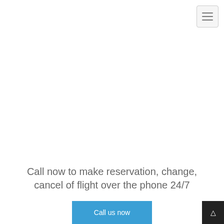[Figure (other): Hamburger menu button (three horizontal lines) in the top-right corner on a light gray rounded rectangle button]
Call now to make reservation, change, cancel of flight over the phone 24/7
[Figure (other): Blue 'Call us now' call-to-action button centered at the bottom]
[Figure (other): Dark scroll-to-top button with arrow icon in the bottom-right corner]